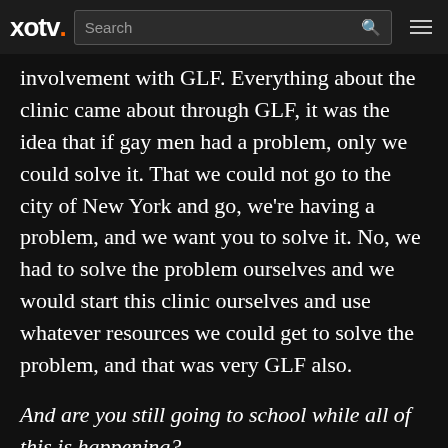xotv. Search
involvement with GLF. Everything about the clinic came about through GLF, it was the idea that if gay men had a problem, only we could solve it. That we could not go to the city of New York and go, we're having a problem, and we want you to solve it. No, we had to solve the problem ourselves and we would start this clinic ourselves and use whatever resources we could get to solve the problem, and that was very GLF also.
And are you still going to school while all of this is happening?